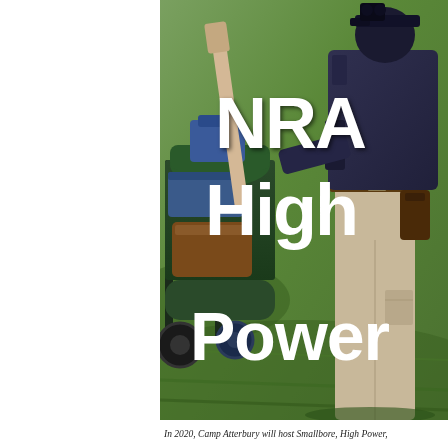[Figure (photo): A shooter in tactical/shooting gear bending forward at a shooting range, with a rifle cart loaded with equipment visible on the left. Green grass field in background. Large white bold text overlaid reads 'NRA High Power'.]
In 2020, Camp Atterbury will host Smallbore, High Power,